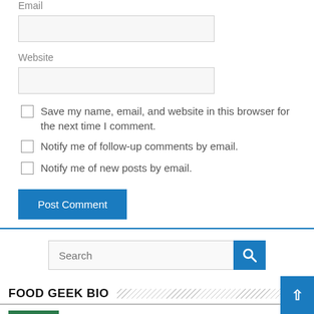Email
Website
Save my name, email, and website in this browser for the next time I comment.
Notify me of follow-up comments by email.
Notify me of new posts by email.
Post Comment
Search
FOOD GEEK BIO
I like to eat. A lot. I also like to take photos of food and write about it too.